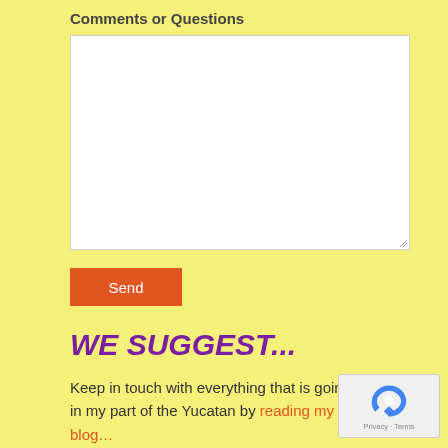Comments or Questions
[Figure (other): Empty white textarea input box for comments or questions]
Send
WE SUGGEST...
Keep in touch with everything that is going on in my part of the Yucatan by reading my blog…
[Figure (other): reCAPTCHA widget with Privacy and Terms text]